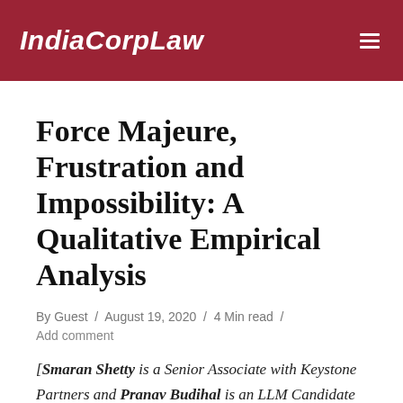IndiaCorpLaw
Force Majeure, Frustration and Impossibility: A Qualitative Empirical Analysis
By Guest / August 19, 2020 / 4 Min read / Add comment
[Smaran Shetty is a Senior Associate with Keystone Partners and Pranav Budihal is an LLM Candidate at the National University of Singapore]